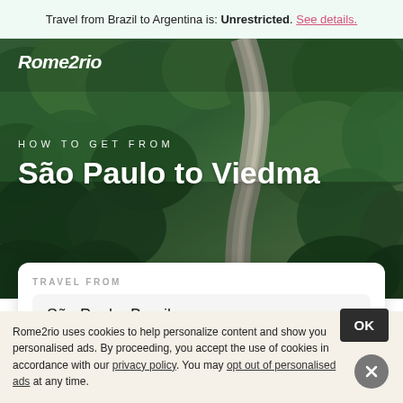Travel from Brazil to Argentina is: Unrestricted. See details.
[Figure (photo): Aerial view of dense green forest with a rocky river/path running diagonally through the middle]
HOW TO GET FROM
São Paulo to Viedma
TRAVEL FROM
São Paulo, Brazil
TO
Rome2rio uses cookies to help personalize content and show you personalised ads. By proceeding, you accept the use of cookies in accordance with our privacy policy. You may opt out of personalised ads at any time.